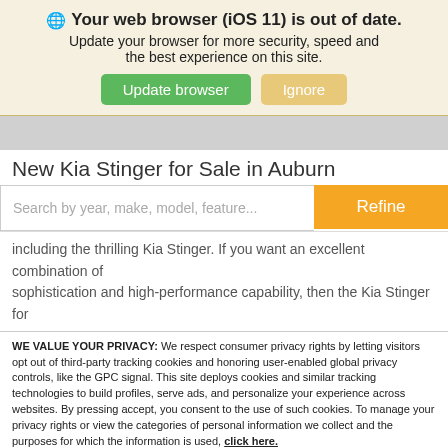Your web browser (iOS 11) is out of date.
Update your browser for more security, speed and the best experience on this site.
New Kia Stinger for Sale in Auburn
Search by year, make, model, feature...
including the thrilling Kia Stinger. If you want an excellent combination of sophistication and high-performance capability, then the Kia Stinger for
WE VALUE YOUR PRIVACY: We respect consumer privacy rights by letting visitors opt out of third-party tracking cookies and honoring user-enabled global privacy controls, like the GPC signal. This site deploys cookies and similar tracking technologies to build profiles, serve ads, and personalize your experience across websites. By pressing accept, you consent to the use of such cookies. To manage your privacy rights or view the categories of personal information we collect and the purposes for which the information is used, click here.
Language:  English
Powered by ComplyAuto
Accept and Continue →
Privacy Policy